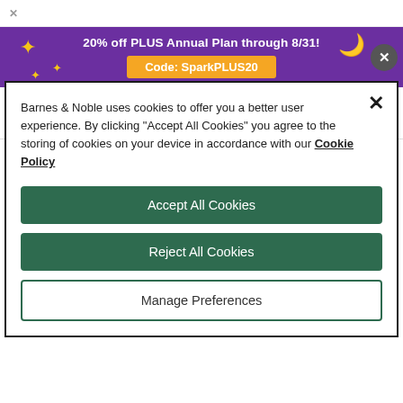[Figure (screenshot): SparkNotes promotional banner with purple background showing '20% off PLUS Annual Plan through 8/31!' and code 'SparkPLUS20']
[Figure (logo): SparkNotes logo with blue asterisk and text 'sparknotes']
Barnes & Noble uses cookies to offer you a better user experience. By clicking "Accept All Cookies" you agree to the storing of cookies on your device in accordance with our Cookie Policy
Accept All Cookies
Reject All Cookies
Manage Preferences